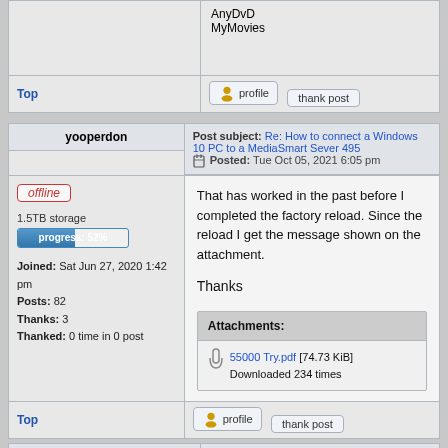|  | AnyDvD
MyMovies |
| --- | --- |
| Top | profile | thank post |
| yooperdon | Post subject: Re: How to connect a Windows 10 PC to a MediaSmart Sever 495
Posted: Tue Oct 05, 2021 6:05 pm |
| --- | --- |
| offline
1.5TB storage
progress: 52%
Joined: Sat Jun 27, 2020 1:42 pm
Posts: 82
Thanks: 3
Thanked: 0 time in 0 post | That has worked in the past before I completed the factory reload. Since the reload I get the message shown on the attachment.

Thanks

Attachments:
55000 Try.pdf [74.73 KiB]
Downloaded 234 times |
| Top | profile | thank post |
| Ruben Rocha | Post subject: Re: How to connect a Windows 10 PC to a MediaSmart Sever 495 |
| --- | --- |